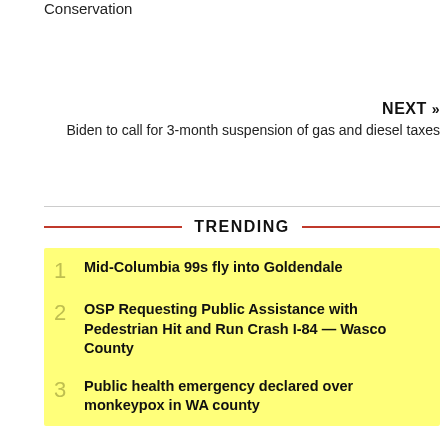Conservation
NEXT »
Biden to call for 3-month suspension of gas and diesel taxes
TRENDING
1 Mid-Columbia 99s fly into Goldendale
2 OSP Requesting Public Assistance with Pedestrian Hit and Run Crash I-84 — Wasco County
3 Public health emergency declared over monkeypox in WA county